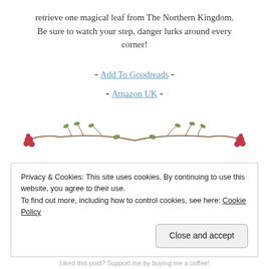retrieve one magical leaf from The Northern Kingdom. Be sure to watch your step, danger lurks around every corner!
- Add To Goodreads -
- Amazon UK -
[Figure (illustration): Decorative floral branch divider with pink/red berries and green leaves on brown stems, symmetric design.]
Did one of the books find thei...
Privacy & Cookies: This site uses cookies. By continuing to use this website, you agree to their use.
To find out more, including how to control cookies, see here: Cookie Policy
Close and accept
Liked this post? Support me by buying me a coffee!